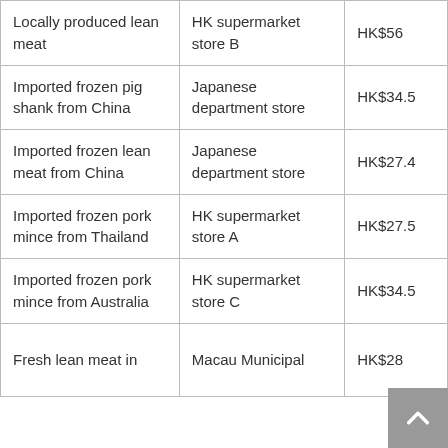| Locally produced lean meat | HK supermarket store B | HK$56 |
| Imported frozen pig shank from China | Japanese department store | HK$34.5 |
| Imported frozen lean meat from China | Japanese department store | HK$27.4 |
| Imported frozen pork mince from Thailand | HK supermarket store A | HK$27.5 |
| Imported frozen pork mince from Australia | HK supermarket store C | HK$34.5 |
| Fresh lean meat in … | Macau Municipal … | HK$28 |